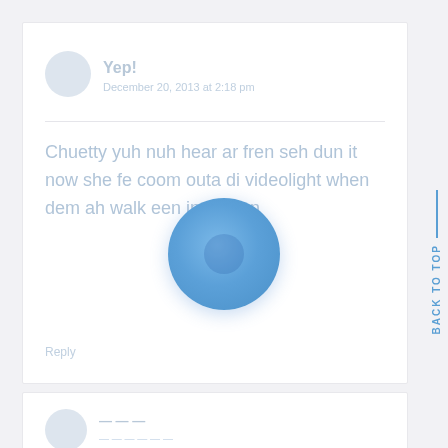[Figure (illustration): User avatar circle, light blue-grey color]
Yep!
December 20, 2013 at 2:18 pm
Chuetty yuh nuh hear ar fren seh dun it now she fe coom outa di videolight when dem ah walk een inna men
Reply
[Figure (illustration): Large blue circle with inner darker circle, loading or decorative overlay element]
BACK TO TOP
[Figure (illustration): Second comment card partially visible at bottom with user avatar]